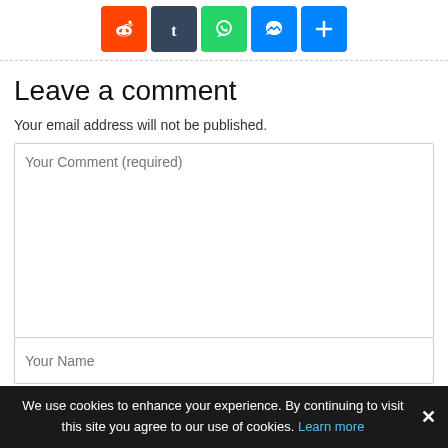[Figure (infographic): Social sharing icons row: Reddit (orange), Tumblr (dark blue), WhatsApp (green), Messenger (blue), More/Plus (blue)]
Your email address will not be published.
Leave a comment
Your Comment (required) [textarea placeholder]
Your Name [input placeholder]
We use cookies to enhance your experience. By continuing to visit this site you agree to our use of cookies. Learn more